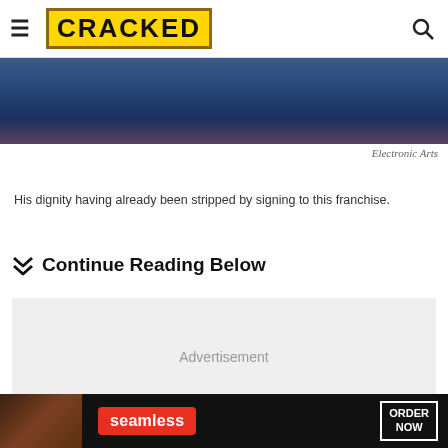CRACKED
[Figure (photo): Partial view of a person in dark blue clothing, cropped at the top of the page]
Electronic Arts
His dignity having already been stripped by signing to this franchise.
Continue Reading Below
[Figure (other): Advertisement placeholder box with grey background]
[Figure (other): Seamless food delivery advertisement banner at bottom of page showing pizza, Seamless logo, and ORDER NOW button]